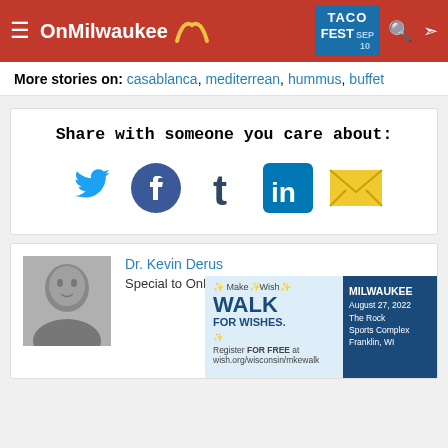OnMilwaukee | TACO FEST SEP 10
More stories on: casablanca, mediterrean, hummus, buffet
Share with someone you care about:
[Figure (infographic): Social sharing icons: Twitter (blue bird), Facebook (blue f), Tumblr (dark t), LinkedIn (blue in), Email (yellow envelope)]
Dr. Kevin Derus
Special to OnMilwaukee.com
[Figure (infographic): Make-A-Wish Walk for Wishes ad. Milwaukee, August 27 2022, The Rock Sports Complex, Franklin WI. Register FOR FREE at wish.org/wisconsin/mkewalk]
[Figure (photo): Black and white headshot photo of Dr. Kevin Derus, a middle-aged man in a collared shirt, smiling]